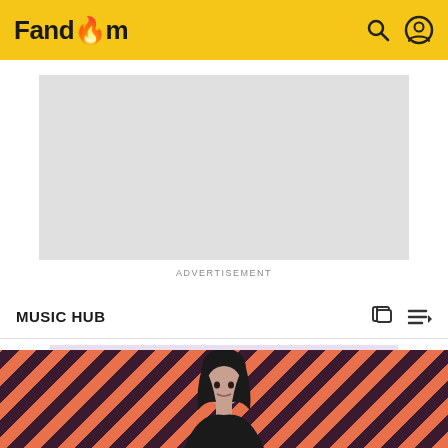Fandom
[Figure (other): Advertisement placeholder rectangle (gray)]
ADVERTISEMENT
MUSIC HUB
Florence + the Machine
EDIT
[Figure (photo): Person with dark hair against orange and dark striped background]